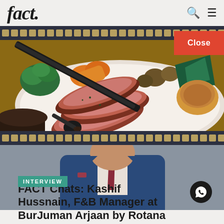fact.
[Figure (photo): Close-up photo of sliced roast beef being carved on a white plate, surrounded by roasted vegetables including broccoli, carrots, potatoes, and a Yorkshire pudding]
Close
[Figure (photo): Man in a blue suit with a burgundy tie, photographed from chest up, partially visible]
INTERVIEW
FACT Chats: Kashif Hussnain, F&B Manager at BurJuman Arjaan by Rotana